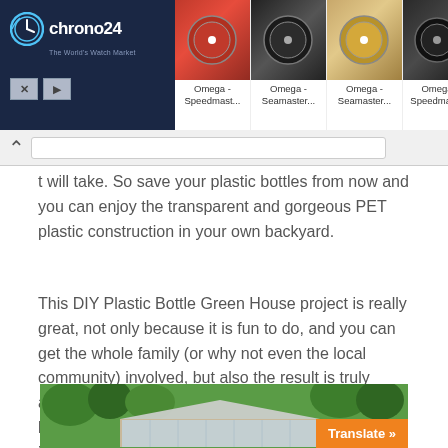[Figure (screenshot): Chrono24 advertisement banner showing watch marketplace with logo on dark blue background and four Omega watch listings (Speedmaster and Seamaster models) with images]
t will take. So save your plastic bottles from now and you can enjoy the transparent and gorgeous PET plastic construction in your own backyard.
This DIY Plastic Bottle Green House project is really great, not only because it is fun to do, and you can get the whole family (or why not even the local community) involved, but also the result is truly amazing. Once completed, which OK, might take a bit of time, but the level of satisfaction will be incredible.
[Figure (photo): Photograph of a greenhouse structure built with plastic bottles, surrounded by green trees and foliage. A 'Translate »' button overlay appears in the bottom right corner.]